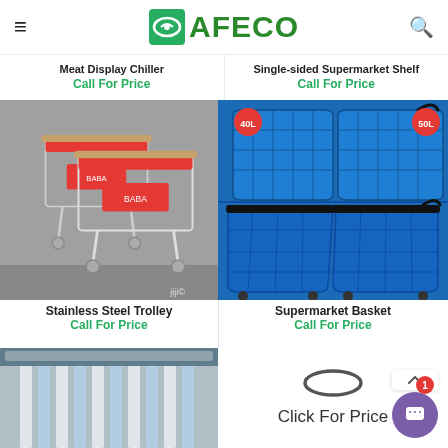AFECO
Meat Display Chiller
Call For Price
Single-sided Supermarket Shelf
Call For Price
[Figure (photo): Stainless steel shopping trolleys with red handles stacked together]
Stainless Steel Trolley
Call For Price
[Figure (photo): Blue supermarket baskets in 40L and 50L sizes, including handheld and wheeled basket types]
Supermarket Basket
Call For Price
[Figure (photo): Partial view of a refrigeration or cold storage unit, bottom of page]
Click For Price